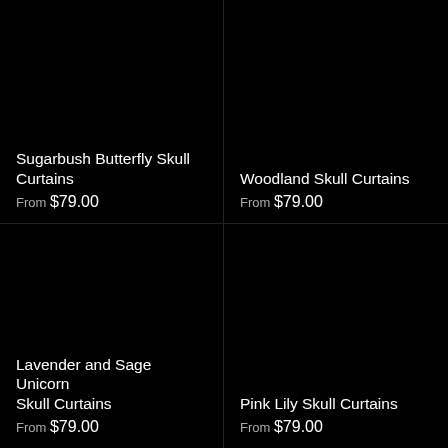Sugarbush Butterfly Skull Curtains
From $79.00
Woodland Skull Curtains
From $79.00
Lavender and Sage Unicorn Skull Curtains
From $79.00
Pink Lily Skull Curtains
From $79.00